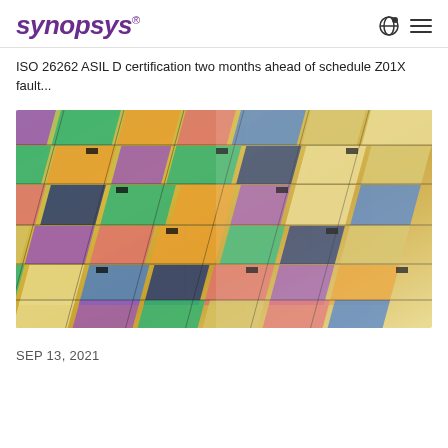SYNOPSYS®
ISO 26262 ASIL D certification two months ahead of schedule Z01X fault...
[Figure (photo): Close-up photograph of a semiconductor silicon wafer showing colorful die patterns in various colors including green, yellow, orange, red, blue, and purple arranged in a grid pattern at an angle.]
SEP 13, 2021